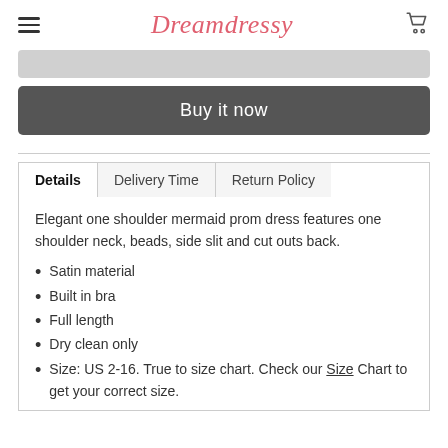Dreamdressy
Buy it now
Details | Delivery Time | Return Policy
Elegant one shoulder mermaid prom dress features one shoulder neck, beads, side slit and cut outs back.
Satin material
Built in bra
Full length
Dry clean only
Size: US 2-16. True to size chart. Check our Size Chart to get your correct size.